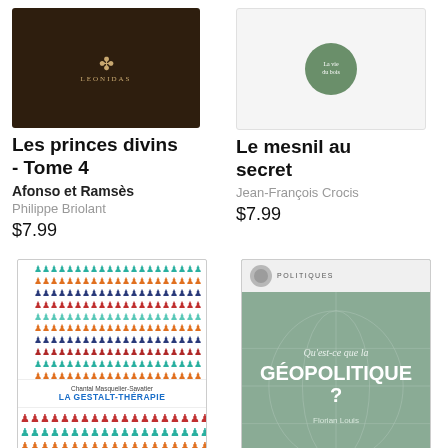[Figure (illustration): Book cover of 'Les princes divins - Tome 4' with dark brown background and gold emblem]
[Figure (illustration): Book cover of 'Le mesnil au secret' with light grey background and green circular logo]
Les princes divins - Tome 4
Afonso et Ramsès
Philippe Briolant
$7.99
Le mesnil au secret
Jean-François Crocis
$7.99
[Figure (illustration): Book cover of 'La Gestalt-Thérapie' by Chantal Masquelier-Savatier with colorful human figure pattern (Que sais-je? series)]
[Figure (illustration): Book cover of 'Qu'est-ce que la Géopolitique?' by Florian Louis, teal/green background with white text, puf publisher]